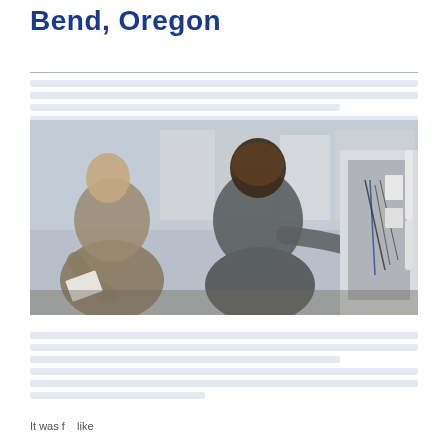Bend, Oregon
[Body text lines — partially visible, content blurred/redacted in original]
[Figure (photo): Two HVAC technicians examining HVAC equipment in a mechanical room. One man (Black, wearing a gray long-sleeve shirt) is gesturing toward an open HVAC unit with wiring and components visible. The other man (white, wearing a tan shirt) is holding paperwork and looking at the unit.]
[Body text — partially visible below photo]
It was f... like... [text continues, partially cut off at bottom]